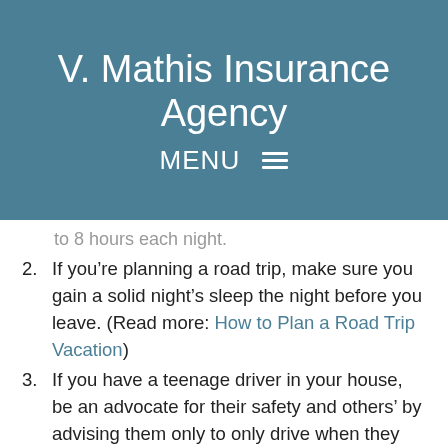V. Mathis Insurance Agency
MENU
to 8 hours each night.
If you’re planning a road trip, make sure you gain a solid night’s sleep the night before you leave. (Read more: How to Plan a Road Trip Vacation)
If you have a teenage driver in your house, be an advocate for their safety and others’ by advising them only to only drive when they feel well rested.
Avoid drinking any alcohol before driving. Even